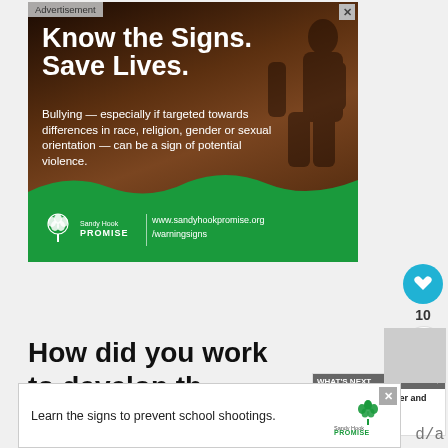[Figure (screenshot): Sandy Hook Promise advertisement with dark background showing person sitting against brick wall. White bold text reads 'Know the Signs. Save Lives.' followed by body text about bullying. Green bottom section shows Sandy Hook Promise logo and website URL www.sandyhookpromise.org/warningsigns. 'Advertisement' label at top left, X close button top right.]
[Figure (infographic): Social interaction panel showing a teal heart/like button icon and a share button icon with count '10' between them.]
How did you work to develop the character of Wong?
[Figure (screenshot): What's Next panel with a circular movie thumbnail and text 'New Trailer and Poster f...']
[Figure (screenshot): Bottom advertisement banner: 'Learn the signs to prevent school shootings.' with Sandy Hook Promise logo. Close X button at top right. Partial text 'd/a' visible at right edge.]